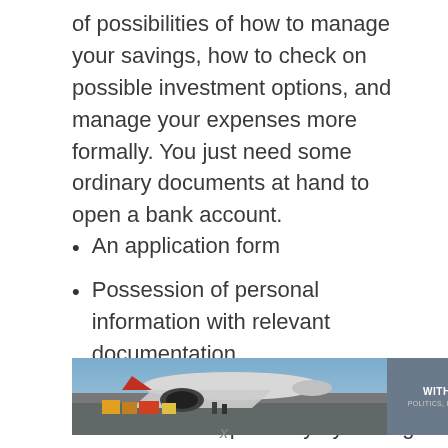of possibilities of how to manage your savings, how to check on possible investment options, and manage your expenses more formally. You just need some ordinary documents at hand to open a bank account.
An application form
Possession of personal information with relevant documentation
A proof of your residential address most probably by having a bill at hand which
[Figure (photo): An advertisement banner showing a cargo airplane being loaded, with text overlay reading 'WITHOUT REGARD TO' and smaller text below about politics, religion, or ability to pay.]